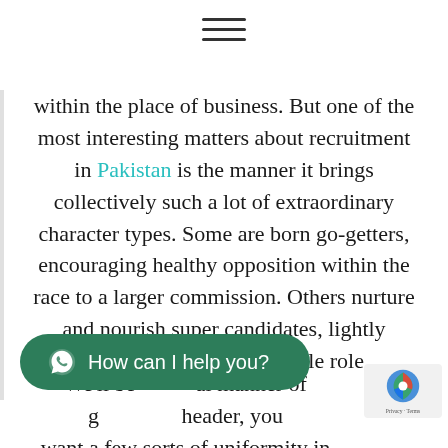[Figure (other): Hamburger menu icon with three horizontal lines]
within the place of business. But one of the most interesting matters about recruitment in Pakistan is the manner it brings collectively such a lot of extraordinary character types. Some are born go-getters, encouraging healthy opposition within the race to a larger commission. Others nurture and nourish super candidates, lightly guiding them to the suitable role.
We'll be ... al manner of ... header, you want a few sorts of uniformity in the
[Figure (other): WhatsApp chat button with text 'How can I help you?']
[Figure (other): reCAPTCHA badge with logo and Privacy - Terms text]